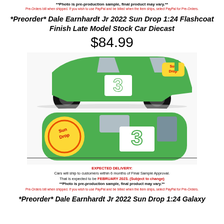**Photo is pre-production sample, final product may vary.**
Pre-Orders bill when shipped. If you wish to use PayPal and be billed when the item ships, select PayPal for Pre-Orders.
*Preorder* Dale Earnhardt Jr 2022 Sun Drop 1:24 Flashcoat Finish Late Model Stock Car Diecast
$84.99
[Figure (photo): Dale Earnhardt Jr 2022 Sun Drop #3 green diecast car shown from side view (top) and top-down view (bottom). Green car with white #3 and Sun Drop branding.]
EXPECTED DELIVERY: Cars will ship to customers within 6 months of Final Sample Approval. That is expected to be FEBRUARY 2023. (Subject to change) **Photo is pre-production sample, final product may vary.** Pre-Orders bill when shipped. If you wish to use PayPal and be billed when the item ships, select PayPal for Pre-Orders.
*Preorder* Dale Earnhardt Jr 2022 Sun Drop 1:24 Galaxy